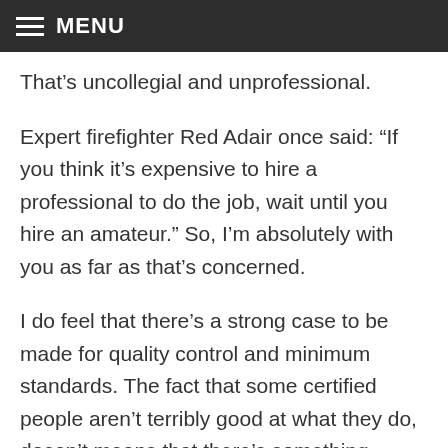MENU
That’s uncollegial and unprofessional.
Expert firefighter Red Adair once said: “If you think it’s expensive to hire a professional to do the job, wait until you hire an amateur.” So, I’m absolutely with you as far as that’s concerned.
I do feel that there’s a strong case to be made for quality control and minimum standards. The fact that some certified people aren’t terribly good at what they do, doesn’t means that there’s something wrong with having criteria and certifications in place. Just because there are a few bad apples, doesn’t